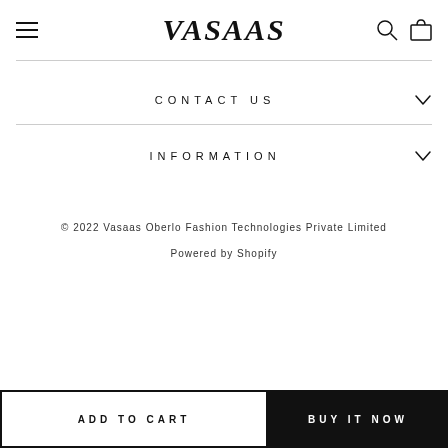VASAAS — Navigation header with hamburger menu, logo, search and cart icons
CONTACT US
INFORMATION
© 2022 Vasaas Oberlo Fashion Technologies Private Limited
Powered by Shopify
ADD TO CART
BUY IT NOW